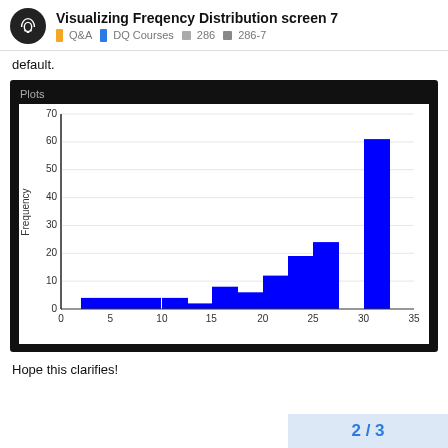Visualizing Freqency Distribution screen 7 | Q&A | DQ Courses | 286 | 286-7
default.
[Figure (histogram): Plots]
Hope this clarifies!
2 / 3